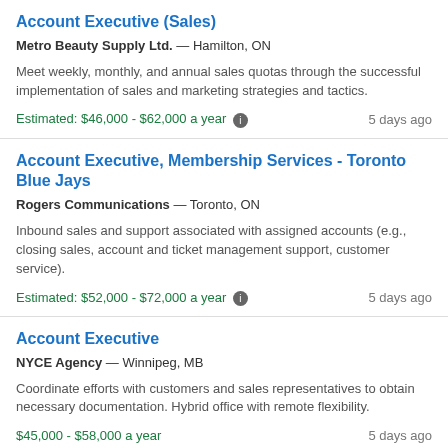Account Executive (Sales)
Metro Beauty Supply Ltd. — Hamilton, ON
Meet weekly, monthly, and annual sales quotas through the successful implementation of sales and marketing strategies and tactics.
Estimated: $46,000 - $62,000 a year    5 days ago
Account Executive, Membership Services - Toronto Blue Jays
Rogers Communications — Toronto, ON
Inbound sales and support associated with assigned accounts (e.g., closing sales, account and ticket management support, customer service).
Estimated: $52,000 - $72,000 a year    5 days ago
Account Executive
NYCE Agency — Winnipeg, MB
Coordinate efforts with customers and sales representatives to obtain necessary documentation. Hybrid office with remote flexibility.
$45,000 - $58,000 a year    5 days ago